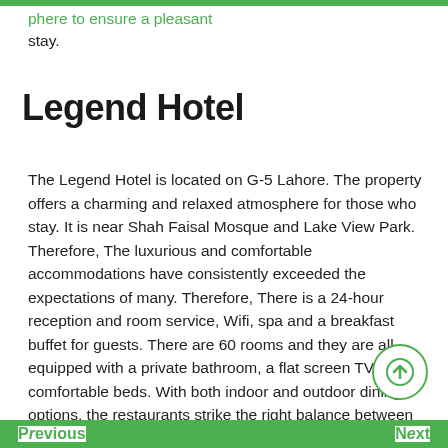phere to ensure a pleasant stay.
Legend Hotel
The Legend Hotel is located on G-5 Lahore. The property offers a charming and relaxed atmosphere for those who stay. It is near Shah Faisal Mosque and Lake View Park. Therefore, The luxurious and comfortable accommodations have consistently exceeded the expectations of many. Therefore, There is a 24-hour reception and room service, Wifi, spa and a breakfast buffet for guests. There are 60 rooms and they are all equipped with a private bathroom, a flat screen TV and comfortable beds. With both indoor and outdoor dining options, the restaurants strike the right balance between mouthwatering flavors and culinary scents with every meal. Click here for Hotel Booking in Lahore.
Previous ... Next